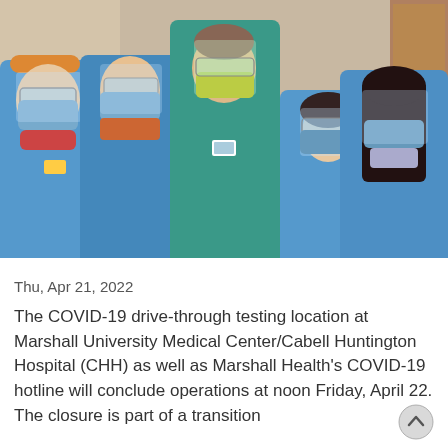[Figure (photo): Five healthcare workers in PPE — blue gowns, face masks, and face shields — posing together in a medical facility hallway. One person in the center wears a teal/green surgical gown and yellow face mask. Others wear blue disposable gowns and blue surgical masks with clear face shields.]
Thu, Apr 21, 2022
The COVID-19 drive-through testing location at Marshall University Medical Center/Cabell Huntington Hospital (CHH) as well as Marshall Health's COVID-19 hotline will conclude operations at noon Friday, April 22. The closure is part of a transition